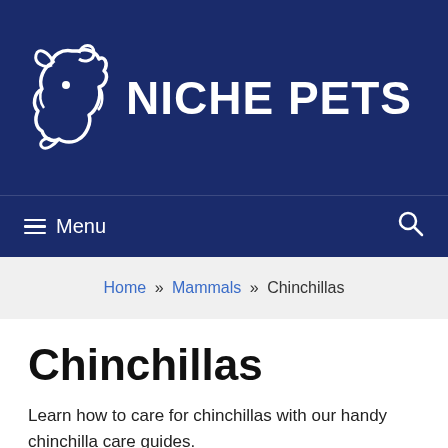[Figure (logo): Niche Pets website header with white chinchilla/hamster logo illustration and bold white text 'NICHE PETS' on dark navy blue background]
≡ Menu  🔍
Home » Mammals » Chinchillas
Chinchillas
Learn how to care for chinchillas with our handy chinchilla care guides.